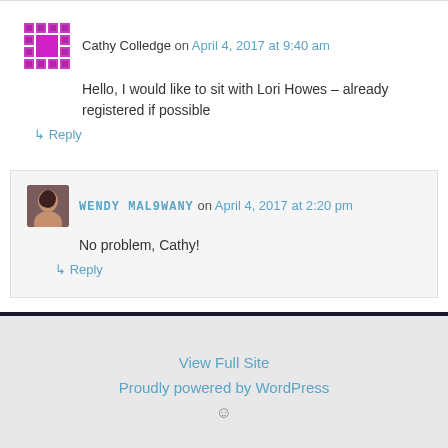Cathy Colledge on April 4, 2017 at 9:40 am
Hello, I would like to sit with Lori Howes – already registered if possible
Reply
WENDY MAL9WANY on April 4, 2017 at 2:20 pm
No problem, Cathy!
Reply
View Full Site
Proudly powered by WordPress